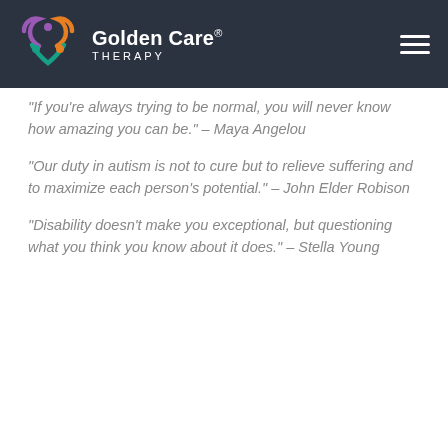Golden Care Therapy
“If you’re always trying to be normal, you will never know how amazing you can be.” – Maya Angelou
“Our duty in autism is not to cure but to relieve suffering and to maximize each person’s potential.” – John Elder Robison
“Disability doesn’t make you exceptional, but questioning what you think you know about it does.” – Stella Young